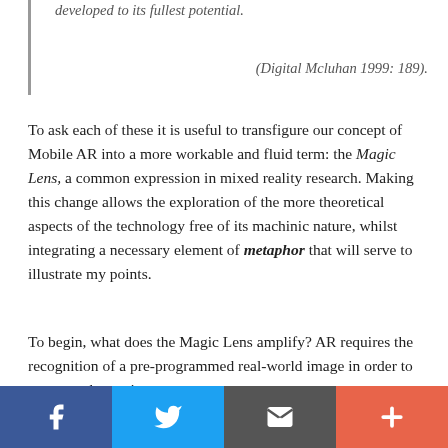developed to its fullest potential.
(Digital Mcluhan 1999: 189).
To ask each of these it is useful to transfigure our concept of Mobile AR into a more workable and fluid term: the Magic Lens, a common expression in mixed reality research. Making this change allows the exploration of the more theoretical aspects of the technology free of its machinic nature, whilst integrating a necessary element of metaphor that will serve to illustrate my points.
To begin, what does the Magic Lens amplify? AR requires the recognition of a pre-programmed real-world image in order to augment the environment correctly. It is the user who locates this target, it is